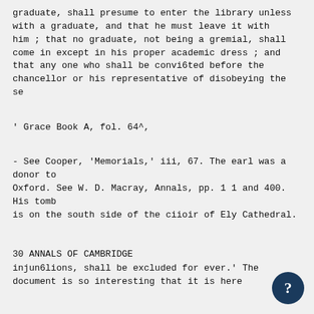graduate, shall presume to enter the library unless
with a graduate, and that he must leave it with
him ; that no graduate, not being a gremial, shall
come in except in his proper academic dress ; and
that any one who shall be convi6ted before the
chancellor or his representative of disobeying these
' Grace Book A, fol. 64^,
- See Cooper, 'Memorials,' iii, 67. The earl was a donor to
Oxford. See W. D. Macray, Annals, pp. 1 1 and 400. His tomb
is on the south side of the ciioir of Ely Cathedral.
30 ANNALS OF CAMBRIDGE
injun6lions, shall be excluded for ever.' The
document is so interesting that it is here